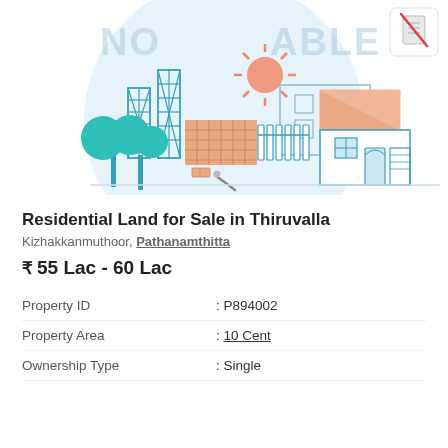[Figure (illustration): Residential property illustration with 'NOT AVAILABLE' watermark text, showing a house under construction with trees, bricks, towers, and a finished house with triangular roof. A no-document icon appears in top right corner.]
Residential Land for Sale in Thiruvalla
Kizhakkanmuthoor, Pathanamthitta
₹ 55 Lac - 60 Lac
| Property ID | : P894002 |
| Property Area | : 10 Cent |
| Ownership Type | : Single |